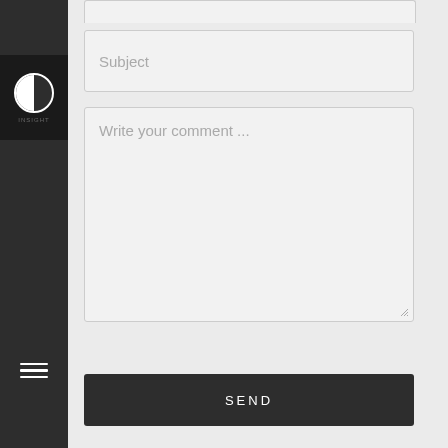[Figure (screenshot): Website contact form UI. Left sidebar is dark/charcoal with a logo icon (circle split in half, white on dark background) and a hamburger menu icon at the bottom. Main content area has a light gray background with a Subject input field, a large comment textarea with 'Write your comment...' placeholder, and a dark Send button.]
Subject
Write your comment ...
SEND